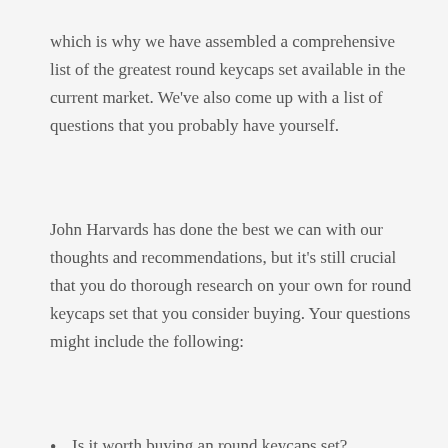which is why we have assembled a comprehensive list of the greatest round keycaps set available in the current market. We've also come up with a list of questions that you probably have yourself.
John Harvards has done the best we can with our thoughts and recommendations, but it's still crucial that you do thorough research on your own for round keycaps set that you consider buying. Your questions might include the following:
Is it worth buying an round keycaps set?
What benefits are there with buying an round